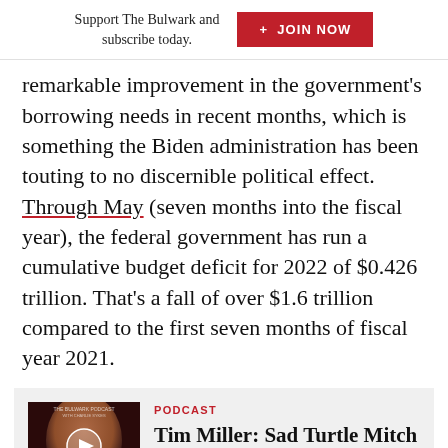Support The Bulwark and subscribe today. + JOIN NOW
remarkable improvement in the government’s borrowing needs in recent months, which is something the Biden administration has been touting to no discernible political effect. Through May (seven months into the fiscal year), the federal government has run a cumulative budget deficit for 2022 of $0.426 trillion. That’s a fall of over $1.6 trillion compared to the first seven months of fiscal year 2021.
[Figure (other): Podcast thumbnail image for Tim Miller: Sad Turtle Mitch episode with play button overlay]
PODCAST
Tim Miller: Sad Turtle Mitch